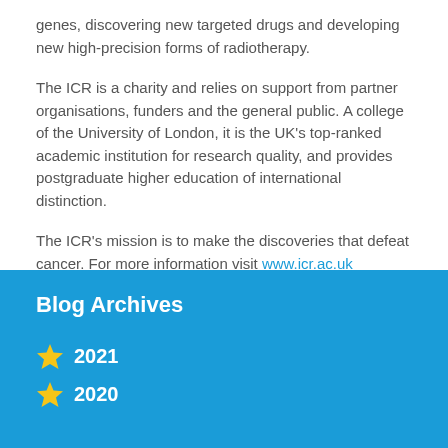genes, discovering new targeted drugs and developing new high-precision forms of radiotherapy.
The ICR is a charity and relies on support from partner organisations, funders and the general public. A college of the University of London, it is the UK's top-ranked academic institution for research quality, and provides postgraduate higher education of international distinction.
The ICR's mission is to make the discoveries that defeat cancer. For more information visit www.icr.ac.uk
Blog Archives
2021
2020